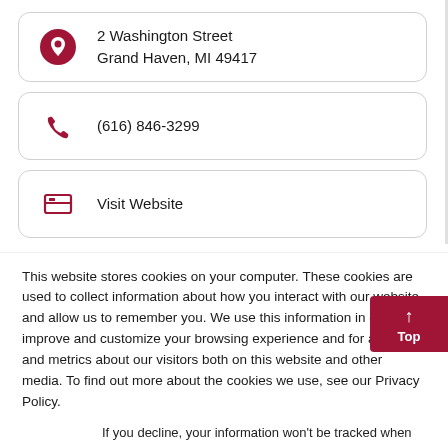2 Washington Street
Grand Haven, MI 49417
(616) 846-3299
Visit Website
This website stores cookies on your computer. These cookies are used to collect information about how you interact with our website and allow us to remember you. We use this information in order to improve and customize your browsing experience and for analytics and metrics about our visitors both on this website and other media. To find out more about the cookies we use, see our Privacy Policy.
If you decline, your information won't be tracked when you visit this website. A single cookie will be used in your browser to remember your preference not to be tracked.
Accept
Decline